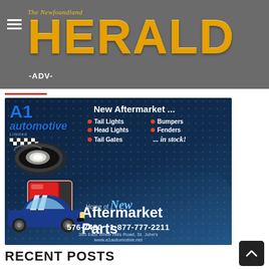The Newfoundland HERALD -ADVERTISEMENT-
[Figure (advertisement): A1 Automotive Limited advertisement showing New Aftermarket parts including Tail Lights, Bumpers, Head Lights, Fenders, Tail Gates in stock. Home of New Aftermarket Parts. Phone: 576-7480, 1-877-777-2211. Address: 395 East White Hills Road, St. John's. Website: www.a1automotive.net. Features images of a blue sports car, a headlight, and a tail light.]
RECENT POSTS